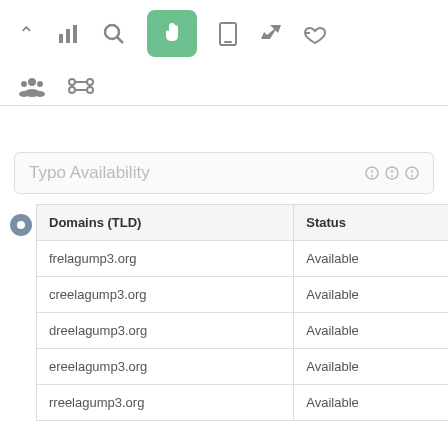[Figure (screenshot): Toolbar with icons: up arrow, bar chart, search, hand pointer (active/green), mobile, rocket, thumbs up]
[Figure (screenshot): Second toolbar row with icons: group/people, chain/link]
Typo Availability
| Domains (TLD) | Status |
| --- | --- |
| frelagump3.org | Available |
| creelagump3.org | Available |
| dreelagump3.org | Available |
| ereelagump3.org | Available |
| rreelagump3.org | Available |